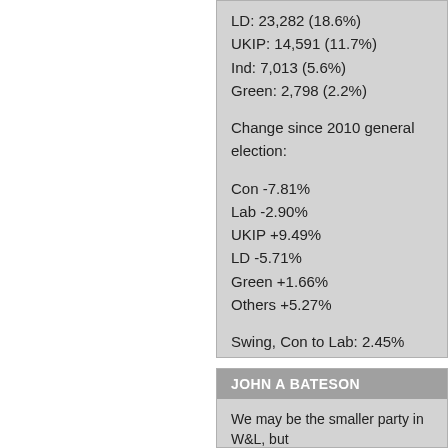LD: 23,282 (18.6%)
UKIP: 14,591 (11.7%)
Ind: 7,013 (5.6%)
Green: 2,798 (2.2%)

Change since 2010 general election:

Con -7.81%
Lab -2.90%
UKIP +9.49%
LD -5.71%
Green +1.66%
Others +5.27%

Swing, Con to Lab: 2.45%
JOHN A BATESON
We may be the smaller party in W&L, but ) David Clark's The Labour Movement in W recommended.